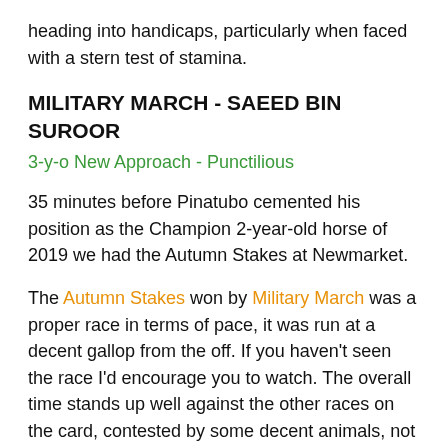heading into handicaps, particularly when faced with a stern test of stamina.
MILITARY MARCH - SAEED BIN SUROOR
3-y-o New Approach - Punctilious
35 minutes before Pinatubo cemented his position as the Champion 2-year-old horse of 2019 we had the Autumn Stakes at Newmarket.
The Autumn Stakes won by Military March was a proper race in terms of pace, it was run at a decent gallop from the off. If you haven't seen the race I'd encourage you to watch. The overall time stands up well against the other races on the card, contested by some decent animals, not least Pinatubo. I have it in the top 5 times recorded in a 2-year-old race